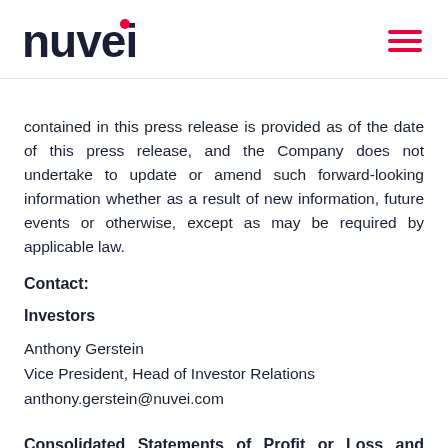nuvei
contained in this press release is provided as of the date of this press release, and the Company does not undertake to update or amend such forward-looking information whether as a result of new information, future events or otherwise, except as may be required by applicable law.
Contact:
Investors
Anthony Gerstein
Vice President, Head of Investor Relations
anthony.gerstein@nuvei.com
Consolidated Statements of Profit or Loss and Comprehensive Income or Loss